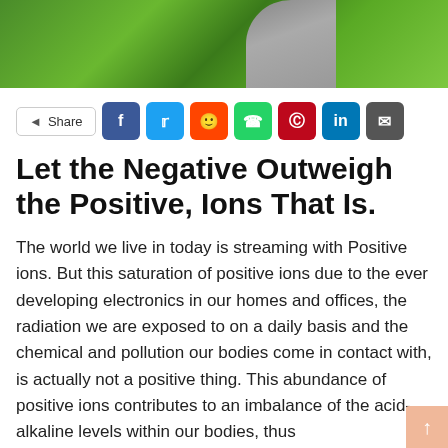[Figure (photo): Outdoor photo showing green grass lawn with a curved path/walkway]
Share (social share buttons: Facebook, Twitter, Reddit, WhatsApp, Pinterest, LinkedIn, Email)
Let the Negative Outweigh the Positive, Ions That Is.
The world we live in today is streaming with Positive ions. But this saturation of positive ions due to the ever developing electronics in our homes and offices, the radiation we are exposed to on a daily basis and the chemical and pollution our bodies come in contact with, is actually not a positive thing. This abundance of positive ions contributes to an imbalance of the acid-alkaline levels within our bodies, thus contributing to...